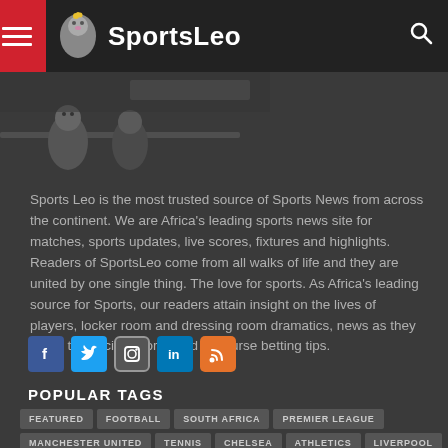SportsLeo
[Figure (illustration): Partial view of SportsLeo mascot illustration — a cartoon figure/penguin-like character in dark tones]
Sports Leo is the most trusted source of Sports News from across the continent. We are Africa's leading sports news site for matches, sports updates, live scores, fixtures and highlights. Readers of SportsLeo come from all walks of life and they are united by one single thing. The love for sports. As Africa's leading source for Sports, our readers attain insight on the lives of players, locker room and dressing room dramatics, news as they relate to specific sports, and of course betting tips.
[Figure (infographic): Row of 5 social media icons: Facebook (blue), Twitter (blue), Instagram (grey), LinkedIn (blue), RSS (orange)]
POPULAR TAGS
FEATURED
FOOTBALL
SOUTH AFRICA
PREMIER LEAGUE
MANCHESTER UNITED
TENNIS
CHELSEA
ATHLETICS
LIVERPOOL
UEFA CHAMPIONS LEAGUE
BARCELONA
KENYA